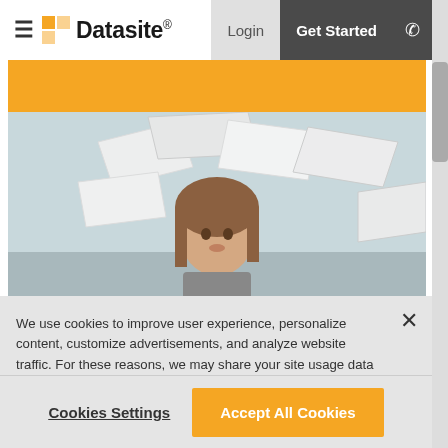≡ Datasite® | Login | Get Started | ☎
[Figure (photo): Woman at desk with papers flying around her head in an office setting]
We use cookies to improve user experience, personalize content, customize advertisements, and analyze website traffic. For these reasons, we may share your site usage data with our social media, advertising, and analytics partners. By selecting "Accept All Cookies", you agree to our website's cookie use as described in our Cookie Policy. You can change your cookie settings at any time by selecting "Cookie Settings." Privacy Policy
Cookies Settings | Accept All Cookies